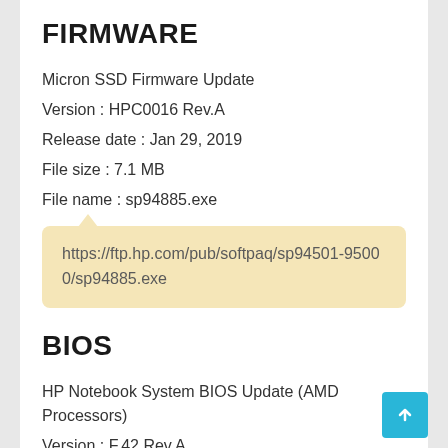FIRMWARE
Micron SSD Firmware Update
Version : HPC0016 Rev.A
Release date : Jan 29, 2019
File size : 7.1 MB
File name : sp94885.exe
https://ftp.hp.com/pub/softpaq/sp94501-95000/sp94885.exe
BIOS
HP Notebook System BIOS Update (AMD Processors)
Version : F.42 Rev.A
Release date : Dec 11, 2019
File size : 22.6 MB